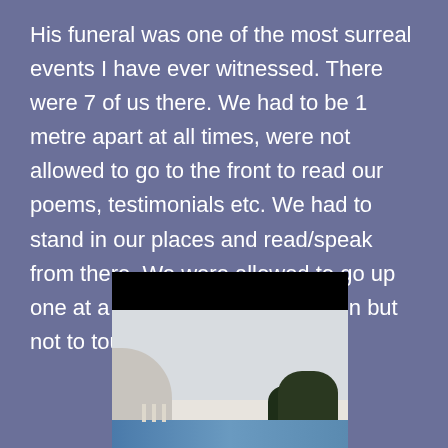His funeral was one of the most surreal events I have ever witnessed. There were 7 of us there. We had to be 1 metre apart at all times, were not allowed to go to the front to read our poems, testimonials etc. We had to stand in our places and read/speak from there. We were allowed to go up one at a time to address the coffin but not to touch it.
[Figure (photo): A photo with a black redaction bar at the top, showing the interior of what appears to be a crematorium or chapel with an arched wall, a blue decorative panel or coffin at the bottom, dark trees visible in the background, and candles.]